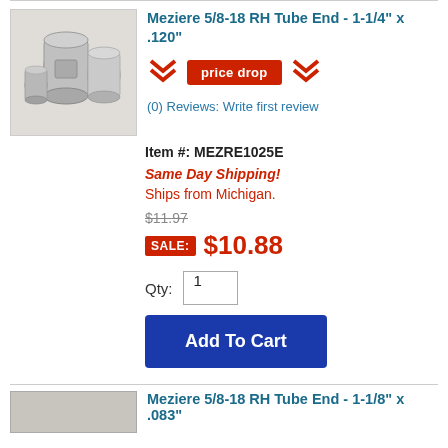Meziere 5/8-18 RH Tube End - 1-1/4" x .120"
(0) Reviews: Write first review
Item #: MEZRE1025E
Same Day Shipping!
Ships from Michigan.
$11.97
SALE: $10.88
Qty: 1
Add To Cart
Meziere 5/8-18 RH Tube End - 1-1/8" x .083"